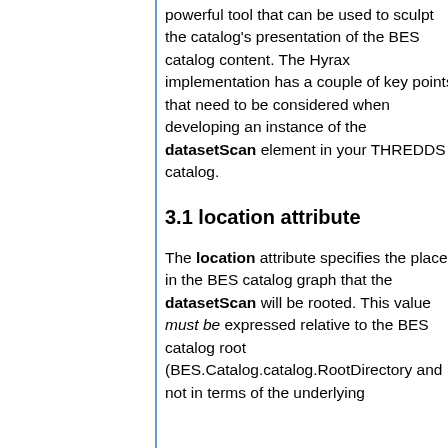powerful tool that can be used to sculpt the catalog's presentation of the BES catalog content. The Hyrax implementation has a couple of key points that need to be considered when developing an instance of the datasetScan element in your THREDDS catalog.
3.1 location attribute
The location attribute specifies the place in the BES catalog graph that the datasetScan will be rooted. This value must be expressed relative to the BES catalog root (BES.Catalog.catalog.RootDirectory and not in terms of the underlying